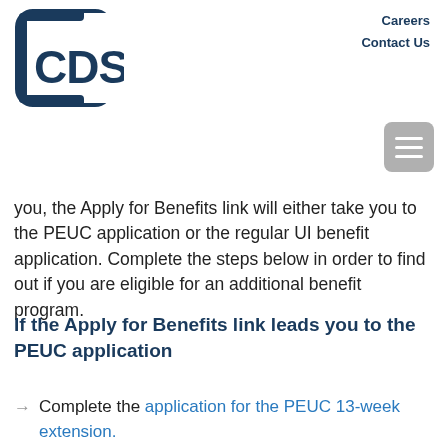[Figure (logo): CDS logo — stylized bracket/square shape with 'CDS' text in dark navy blue]
Careers
Contact Us
you, the Apply for Benefits link will either take you to the PEUC application or the regular UI benefit application. Complete the steps below in order to find out if you are eligible for an additional benefit program.
If the Apply for Benefits link leads you to the PEUC application
Complete the application for the PEUC 13-week extension.